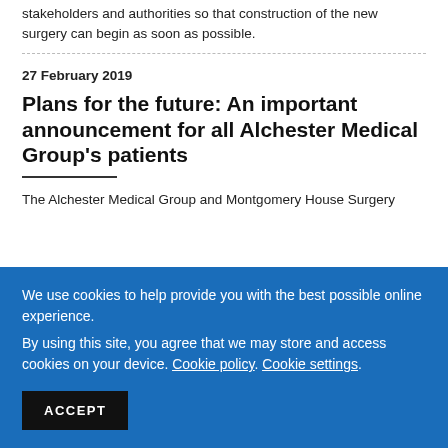stakeholders and authorities so that construction of the new surgery can begin as soon as possible.
27 February 2019
Plans for the future: An important announcement for all Alchester Medical Group's patients
The Alchester Medical Group and Montgomery House Surgery
We use cookies to help provide you with the best possible online experience.
By using this site, you agree that we may store and access cookies on your device. Cookie policy. Cookie settings.
ACCEPT